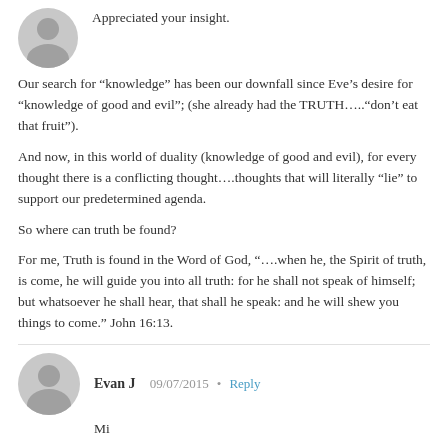Appreciated your insight.
Our search for “knowledge” has been our downfall since Eve’s desire for “knowledge of good and evil”; (she already had the TRUTH…..“don’t eat that fruit”).
And now, in this world of duality (knowledge of good and evil), for every thought there is a conflicting thought….thoughts that will literally “lie” to support our predetermined agenda.
So where can truth be found?
For me, Truth is found in the Word of God, “….when he, the Spirit of truth, is come, he will guide you into all truth: for he shall not speak of himself; but whatsoever he shall hear, that shall he speak: and he will shew you things to come.” John 16:13.
Evan J 09/07/2015 Reply
Mi...